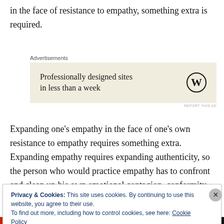in the face of resistance to empathy, something extra is required.
[Figure (other): Advertisement banner: WordPress logo with text 'Professionally designed sites in less than a week' on a beige background]
Expanding one’s empathy in the face of one’s own resistance to empathy requires something extra. Expanding empathy requires expanding authenticity, so the person who would practice empathy has to confront and clean up his own emotional contagion, conformity,
Privacy & Cookies: This site uses cookies. By continuing to use this website, you agree to their use.
To find out more, including how to control cookies, see here: Cookie Policy